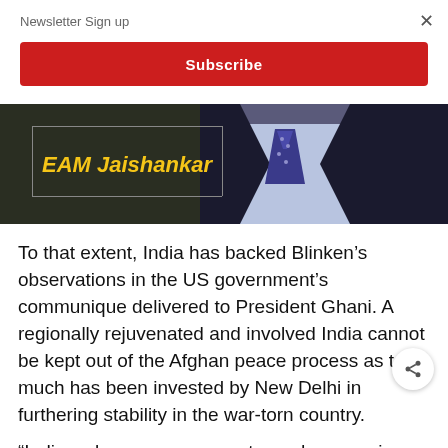Newsletter Sign up
Subscribe
[Figure (photo): EAM Jaishankar — a man in a dark suit and patterned tie, with text overlay reading 'EAM Jaishankar' in yellow on a dark background]
To that extent, India has backed Blinken’s observations in the US government’s communique delivered to President Ghani. A regionally rejuvenated and involved India cannot be kept out of the Afghan peace process as too much has been invested by New Delhi in furthering stability in the war-torn country.
“India welcomes any move towards a genuine